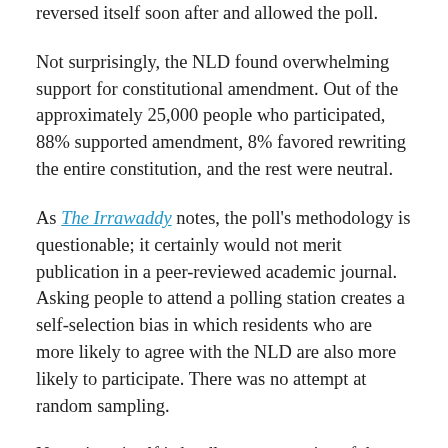reversed itself soon after and allowed the poll.
Not surprisingly, the NLD found overwhelming support for constitutional amendment. Out of the approximately 25,000 people who participated, 88% supported amendment, 8% favored rewriting the entire constitution, and the rest were neutral.
As The Irrawaddy notes, the poll's methodology is questionable; it certainly would not merit publication in a peer-reviewed academic journal. Asking people to attend a polling station creates a self-selection bias in which residents who are more likely to agree with the NLD are also more likely to participate. There was no attempt at random sampling.
Naypyitaw itself is hardly representative of the